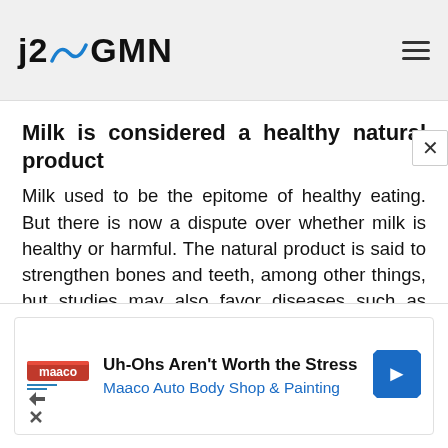j2GMN
Milk is considered a healthy natural product
Milk used to be the epitome of healthy eating. But there is now a dispute over whether milk is healthy or harmful. The natural product is said to strengthen bones and teeth, among other things, but studies may also favor diseases such as asthma. According to recent studies, milk is actually healthy. However, some experts believe that it is very important which milk is consumed. Especially when
[Figure (other): Advertisement banner for Maaco Auto Body Shop & Painting with text 'Uh-Ohs Aren't Worth the Stress' and Maaco logo]